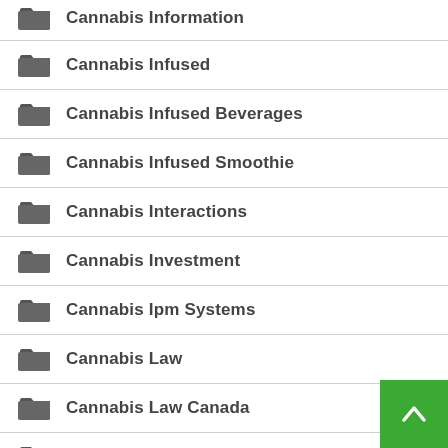Cannabis Information
Cannabis Infused
Cannabis Infused Beverages
Cannabis Infused Smoothie
Cannabis Interactions
Cannabis Investment
Cannabis Ipm Systems
Cannabis Law
Cannabis Law Canada
Cannabis Law U.S.
Cannabis Laws
Cannabis Laws In Jamaica
Cannabis Legalization